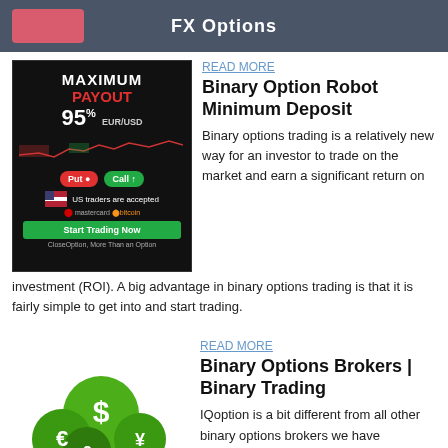FX Options
READ MORE
Binary Option Robot Minimum Deposit
Binary options trading is a relatively new way for an investor to trade on the market and earn a significant return on investment (ROI). A big advantage in binary options trading is that it is fairly simple to get into and start trading.
READ MORE
Binary Options Brokers | Binary Trading
IQoption is a bit different from all other binary options brokers we have reviewed. Some of the interesting facts about this broker is that it allows traders to start trading with demo account without the need